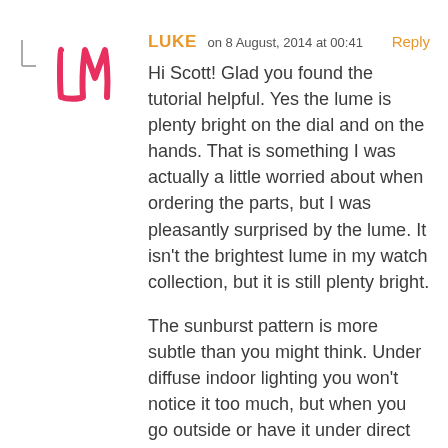[Figure (illustration): Hand-drawn pink/magenta monogram letters 'LM' serving as a user avatar, with a small indent/reply marker (L-shape bracket) to its left.]
LUKE on 8 August, 2014 at 00:41   Reply
Hi Scott! Glad you found the tutorial helpful. Yes the lume is plenty bright on the dial and on the hands. That is something I was actually a little worried about when ordering the parts, but I was pleasantly surprised by the lume. It isn't the brightest lume in my watch collection, but it is still plenty bright.
The sunburst pattern is more subtle than you might think. Under diffuse indoor lighting you won't notice it too much, but when you go outside or have it under direct lighting it really starts to dance around. I can see how some people might think it